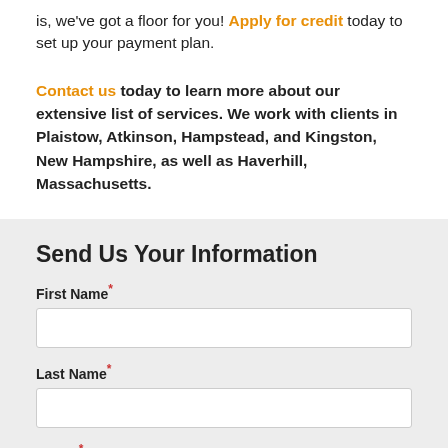is, we've got a floor for you! Apply for credit today to set up your payment plan.
Contact us today to learn more about our extensive list of services. We work with clients in Plaistow, Atkinson, Hampstead, and Kingston, New Hampshire, as well as Haverhill, Massachusetts.
Send Us Your Information
First Name
Last Name
Phone